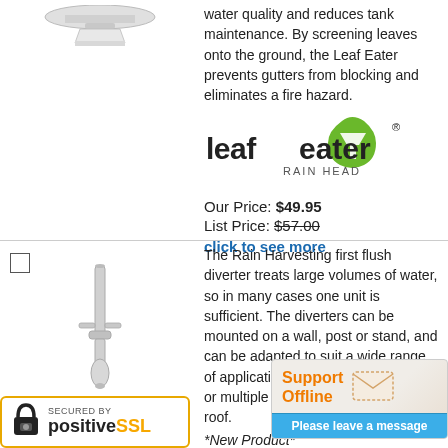water quality and reduces tank maintenance. By screening leaves onto the ground, the Leaf Eater prevents gutters from blocking and eliminates a fire hazard.
[Figure (logo): Leaf Eater Rain Head logo — green water drop with white funnel icon, bold text 'leaf eater' and 'RAIN HEAD' underneath]
Our Price: $49.95
List Price: $57.00
click to see more
[Figure (photo): Rain Harvesting first flush diverter product photo — vertical tube with bulb at bottom]
The Rain Harvesting first flush diverter treats large volumes of water, so in many cases one unit is sufficient. The diverters can be mounted on a wall, post or stand, and can be adapted to suit a wide range of applications. or multiple pipe roof.
[Figure (other): Support Offline widget with orange text and envelope icon, blue 'Please leave a message' button]
*New Product*
Our Price: $329.95
[Figure (logo): Secured by PositiveSSL badge with padlock icon]